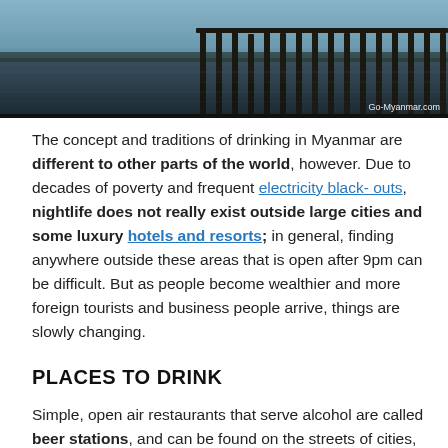[Figure (photo): A photo of a wooden dock/bridge reflected in calm water in Myanmar, with pillars extending into the water. Watermark reads 'Go-Myanmar.com'.]
The concept and traditions of drinking in Myanmar are different to other parts of the world, however. Due to decades of poverty and frequent electricity blackouts, nightlife does not really exist outside large cities and some luxury hotels and resorts; in general, finding anywhere outside these areas that is open after 9pm can be difficult. But as people become wealthier and more foreign tourists and business people arrive, things are slowly changing.
PLACES TO DRINK
Simple, open air restaurants that serve alcohol are called beer stations, and can be found on the streets of cities, towns and villages around Myanmar. They usually serve one of the country's decent draught beers (more information below), and are at the heart of Myanmar drinking culture; people come to